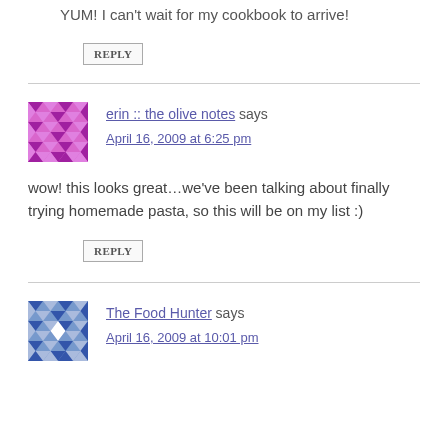YUM! I can't wait for my cookbook to arrive!
REPLY
erin :: the olive notes says
April 16, 2009 at 6:25 pm
wow! this looks great…we've been talking about finally trying homemade pasta, so this will be on my list :)
REPLY
The Food Hunter says
April 16, 2009 at 10:01 pm